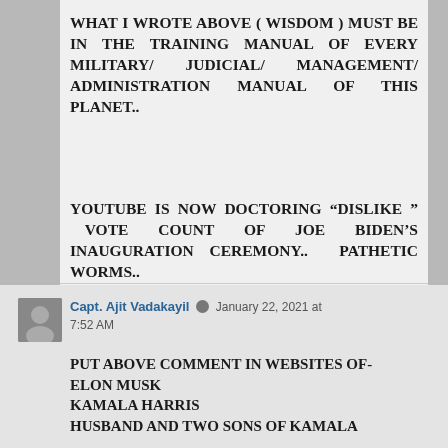WHAT I WROTE ABOVE ( WISDOM ) MUST BE IN THE TRAINING MANUAL OF EVERY MILITARY/ JUDICIAL/ MANAGEMENT/ ADMINISTRATION MANUAL OF THIS PLANET..
YOUTUBE IS NOW DOCTORING “DISLIKE “ VOTE COUNT OF JOE BIDEN’S INAUGURATION CEREMONY.. PATHETIC WORMS..
Capt ajit vadakayil
..
Capt. Ajit Vadakayil ✏ January 22, 2021 at 7:52 AM
PUT ABOVE COMMENT IN WEBSITES OF- ELON MUSK
KAMALA HARRIS
HUSBAND AND TWO SONS OF KAMALA